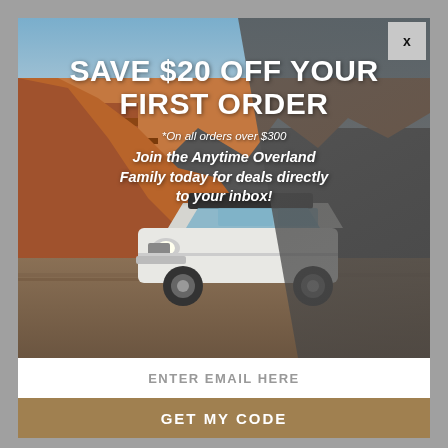[Figure (photo): Popup modal overlay on gray background. Shows a white off-road SUV parked in a red rock canyon desert landscape with blue sky. Gray diagonal gradient overlays part of the image.]
SAVE $20 OFF YOUR FIRST ORDER
*On all orders over $300
Join the Anytime Overland Family today for deals directly to your inbox!
ENTER EMAIL HERE
GET MY CODE